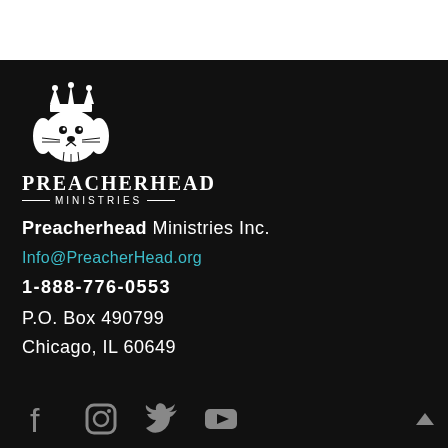[Figure (logo): PreacherHead Ministries logo — white lion head with crown above text 'PREACHERHEAD MINISTRIES' on black background]
Preacherhead Ministries Inc.
Info@PreacherHead.org
1-888-776-0553
P.O. Box 490799
Chicago, IL 60649
[Figure (other): Social media icons: Facebook, Instagram, Twitter, YouTube]